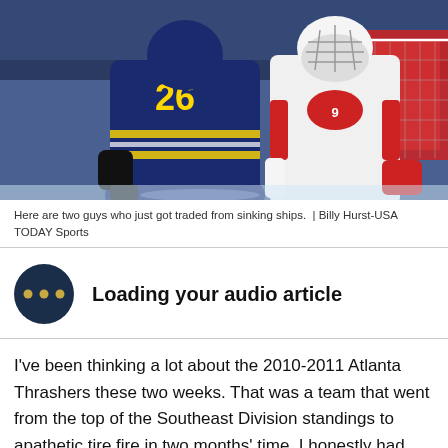[Figure (photo): Two hockey players on ice — one in a blue St. Louis Blues jersey (#26) and one in a white Detroit Red Wings goalie uniform, in front of a red goal net.]
Here are two guys who just got traded from sinking ships. | Billy Hurst-USA TODAY Sports
[Figure (infographic): Dark navy circle with three orange dots (ellipsis/loading icon) representing an audio article loading indicator.]
Loading your audio article
I've been thinking a lot about the 2010-2011 Atlanta Thrashers these two weeks. That was a team that went from the top of the Southeast Division standings to apathetic tire fire in two months' time. I honestly had never seen anything like that tank in all of my years as